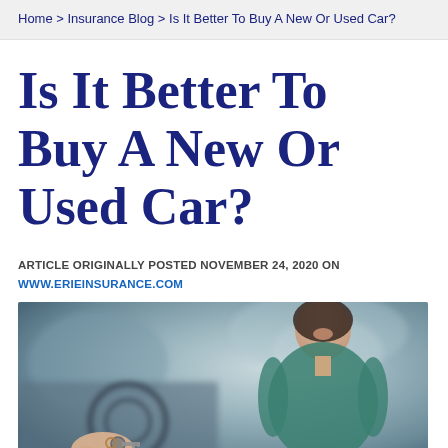Home > Insurance Blog > Is It Better To Buy A New Or Used Car?
Is It Better To Buy A New Or Used Car?
ARTICLE ORIGINALLY POSTED NOVEMBER 24, 2020 ON WWW.ERIEINSURANCE.COM
[Figure (photo): Smiling woman in a teal blouse holding car keys in a dealership or car-related setting, with a blurred background showing a steering wheel and indoor environment. A hand in the foreground offers or receives the keys.]